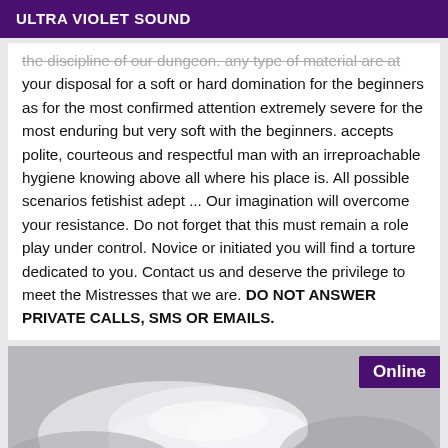ULTRA VIOLET SOUND
the discipline of our dungeon. any type of material are at your disposal for a soft or hard domination for the beginners as for the most confirmed attention extremely severe for the most enduring but very soft with the beginners. accepts polite, courteous and respectful man with an irreproachable hygiene knowing above all where his place is. All possible scenarios fetishist adept ... Our imagination will overcome your resistance. Do not forget that this must remain a role play under control. Novice or initiated you will find a torture dedicated to you. Contact us and deserve the privilege to meet the Mistresses that we are. DO NOT ANSWER PRIVATE CALLS, SMS OR EMAILS.
[Figure (photo): Close-up photo of gloved hands, appears to show white latex or rubber gloves. Online badge overlay in purple top right.]